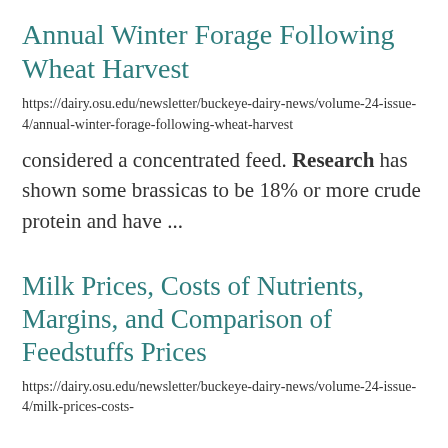Annual Winter Forage Following Wheat Harvest
https://dairy.osu.edu/newsletter/buckeye-dairy-news/volume-24-issue-4/annual-winter-forage-following-wheat-harvest
considered a concentrated feed. Research has shown some brassicas to be 18% or more crude protein and have ...
Milk Prices, Costs of Nutrients, Margins, and Comparison of Feedstuffs Prices
https://dairy.osu.edu/newsletter/buckeye-dairy-news/volume-24-issue-4/milk-prices-costs-